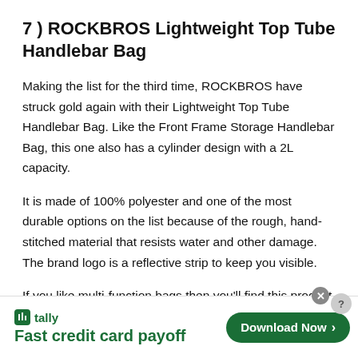7 ) ROCKBROS Lightweight Top Tube Handlebar Bag
Making the list for the third time, ROCKBROS have struck gold again with their Lightweight Top Tube Handlebar Bag. Like the Front Frame Storage Handlebar Bag, this one also has a cylinder design with a 2L capacity.
It is made of 100% polyester and one of the most durable options on the list because of the rough, hand-stitched material that resists water and other damage. The brand logo is a reflective strip to keep you visible.
If you like multi-function bags then you'll find this product to be four bags in one. You can mount it on the handlebars, the bike's
[Figure (screenshot): Advertisement banner for Tally app — Fast credit card payoff. Green Download Now button on the right. Tally logo on left. Close and help buttons visible.]